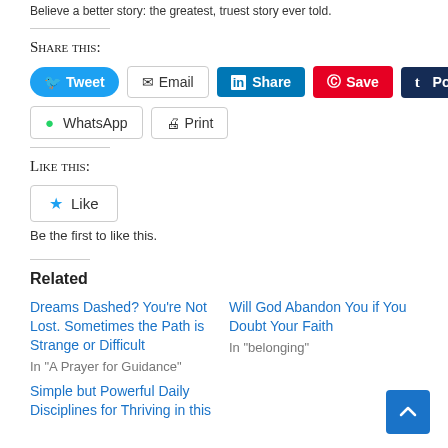Believe a better story: the greatest, truest story ever told.
Share this:
[Figure (screenshot): Social sharing buttons: Tweet, Email, Share (LinkedIn), Save (Pinterest), Post (Tumblr), WhatsApp, Print]
Like this:
[Figure (screenshot): Like button with star icon]
Be the first to like this.
Related
Dreams Dashed? You’re Not Lost. Sometimes the Path is Strange or Difficult
In "A Prayer for Guidance"
Will God Abandon You if You Doubt Your Faith
In "belonging"
Simple but Powerful Daily Disciplines for Thriving in this